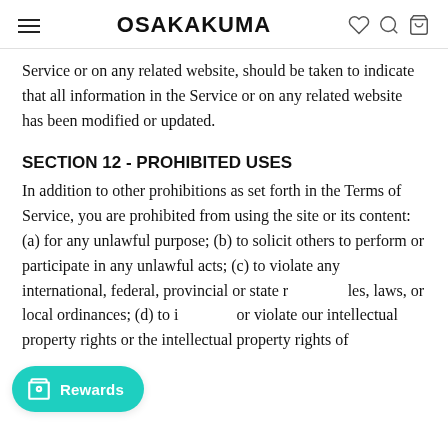OSAKAKUMA
Service or on any related website, should be taken to indicate that all information in the Service or on any related website has been modified or updated.
SECTION 12 - PROHIBITED USES
In addition to other prohibitions as set forth in the Terms of Service, you are prohibited from using the site or its content: (a) for any unlawful purpose; (b) to solicit others to perform or participate in any unlawful acts; (c) to violate any international, federal, provincial or state regulations, laws, or local ordinances; (d) to infringe upon or violate our intellectual property rights or the intellectual property rights of